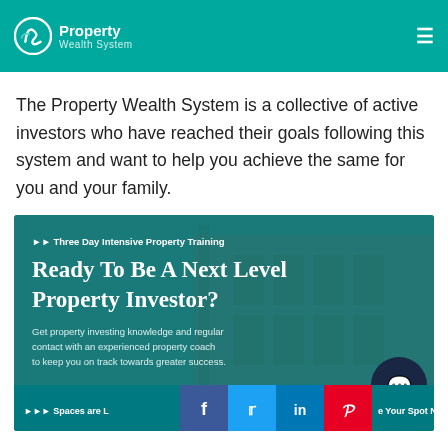Property Wealth System
The Property Wealth System is a collective of active investors who have reached their goals following this system and want to help you achieve the same for you and your family.
[Figure (screenshot): Promotional banner for Three Day Intensive Property Training. Headline: Ready To Be A Next Level Property Investor? Subtext: Get property investing knowledge and regular contact with an experienced property coach to keep you on track towards greater success. Bottom bar with social media buttons (Facebook, Twitter, LinkedIn, Pinterest) and call-to-action: Spaces are Limited – Reserve Your Spot Now!]